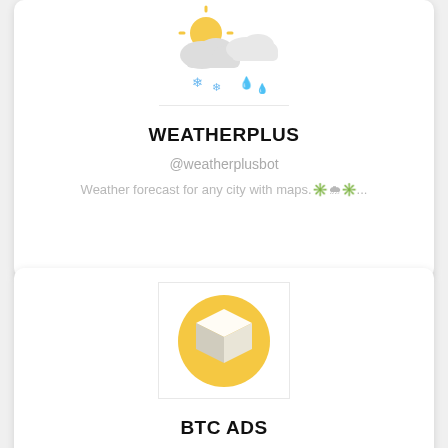[Figure (illustration): Weather app icon showing sun behind clouds with snow and rain]
WEATHERPLUS
@weatherplusbot
Weather forecast for any city with maps.✳️🌧✳️...
[Figure (logo): BTC Ads logo: gold circle with white 3D box/building icon on white background]
BTC ADS
@BTC_Ads_bot